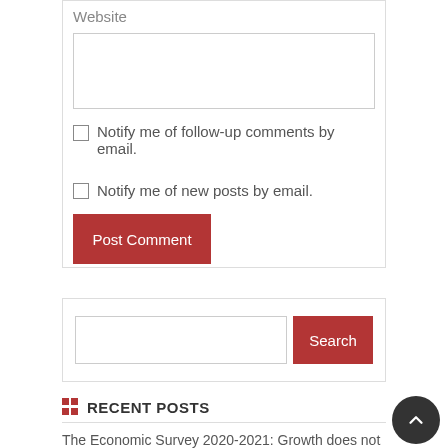Website
Notify me of follow-up comments by email.
Notify me of new posts by email.
Post Comment
Search
RECENT POSTS
The Economic Survey 2020-2021: Growth does not...